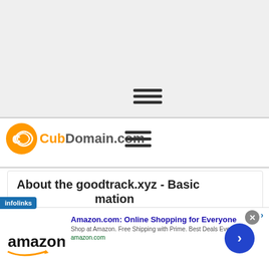[Figure (screenshot): Top gray banner area of a website screenshot]
[Figure (logo): CubDomain.com logo with orange icon and text, and hamburger menu icon]
About the goodtrack.xyz - Basic Information
[Figure (screenshot): Infolinks ad overlay badge with Amazon.com advertisement: 'Amazon.com: Online Shopping for Everyone', 'Shop at Amazon. Free Shipping with Prime. Best Deals Ever!', amazon.com]